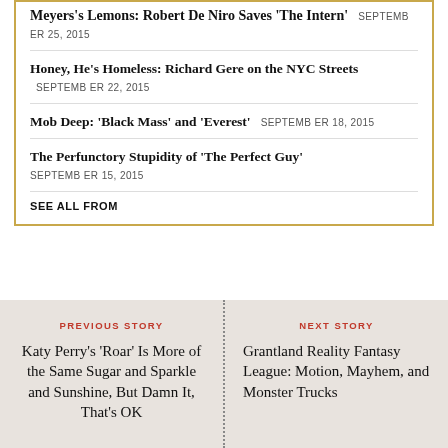Meyers's Lemons: Robert De Niro Saves 'The Intern' SEPTEMBER 25, 2015
Honey, He's Homeless: Richard Gere on the NYC Streets SEPTEMBER 22, 2015
Mob Deep: 'Black Mass' and 'Everest' SEPTEMBER 18, 2015
The Perfunctory Stupidity of 'The Perfect Guy' SEPTEMBER 15, 2015
SEE ALL FROM
PREVIOUS STORY
Katy Perry's 'Roar' Is More of the Same Sugar and Sparkle and Sunshine, But Damn It, That's OK
NEXT STORY
Grantland Reality Fantasy League: Motion, Mayhem, and Monster Trucks